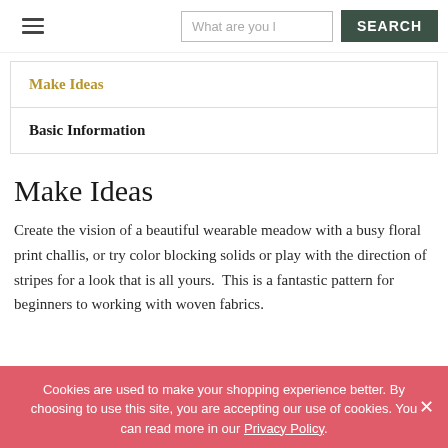☰  [search: What are you l...]  SEARCH
Make Ideas
Basic Information
Make Ideas
Create the vision of a beautiful wearable meadow with a busy floral print challis, or try color blocking solids or play with the direction of stripes for a look that is all yours.  This is a fantastic pattern for beginners to working with woven fabrics.
Cookies are used to make your shopping experience better. By choosing to use this site, you are accepting our use of cookies. You can read more in our Privacy Policy.